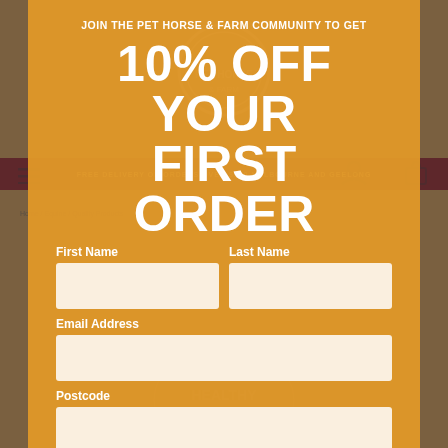[Figure (screenshot): Website background with orange/amber overlay modal showing a pet/farm supply store. Background shows navigation bar, logo, and product imagery.]
JOIN THE PET HORSE & FARM COMMUNITY TO GET
10% OFF YOUR FIRST ORDER
First Name
Last Name
Email Address
Postcode
OK